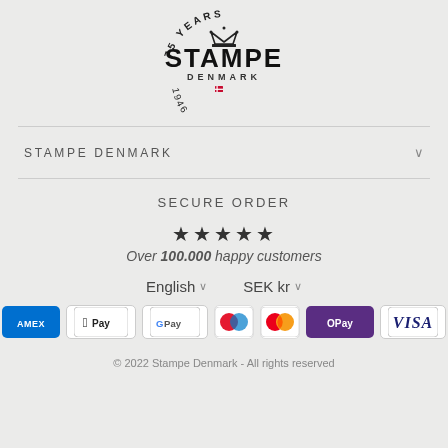[Figure (logo): Stampe Denmark 75 Years logo with crown, circular text '75 YEARS', 'STAMPE', 'DENMARK', Danish flag emoji, and '1946 - 2021' in arc]
STAMPE DENMARK
SECURE ORDER
★★★★★
Over 100.000 happy customers
English   SEK kr
[Figure (infographic): Payment method icons: American Express (AMEX), Apple Pay, Google Pay, Maestro, Mastercard, OPay, VISA]
© 2022 Stampe Denmark - All rights reserved